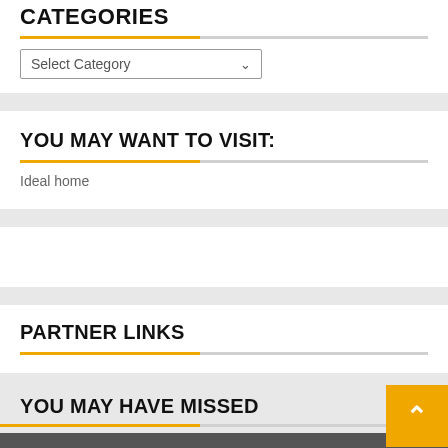CATEGORIES
Select Category
YOU MAY WANT TO VISIT:
Ideal home
PARTNER LINKS
YOU MAY HAVE MISSED
[Figure (screenshot): Broken image placeholder on dark grey background]